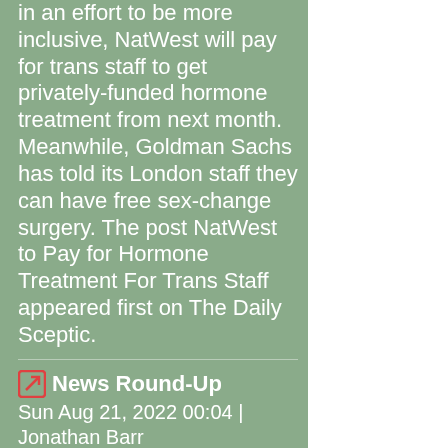in an effort to be more inclusive, NatWest will pay for trans staff to get privately-funded hormone treatment from next month. Meanwhile, Goldman Sachs has told its London staff they can have free sex-change surgery. The post NatWest to Pay for Hormone Treatment For Trans Staff appeared first on The Daily Sceptic.
News Round-Up
Sun Aug 21, 2022 00:04 | Jonathan Barr
A summary of all the most interesting stories that have appeared about politicians? efforts to control the virus ? and other acts of hubris and folly ? not just in Britain,